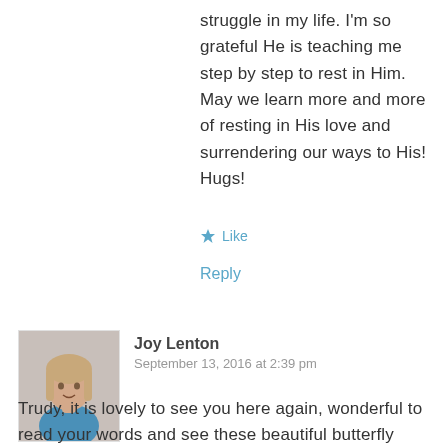struggle in my life. I'm so grateful He is teaching me step by step to rest in Him. May we learn more and more of resting in His love and surrendering our ways to His! Hugs!
Like
Reply
[Figure (photo): Avatar photo of Joy Lenton, a woman in a blue top]
Joy Lenton
September 13, 2016 at 2:39 pm
Trudy, it is lovely to see you here again, wonderful to read your words and see these beautiful butterfly photos! You have a great gift of